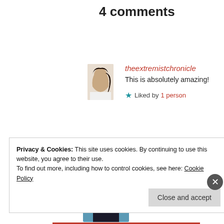4 comments
theextremistchronicle
This is absolutely amazing!
★ Liked by 1 person
namrataTan
Thank you f
🙂
Privacy & Cookies: This site uses cookies. By continuing to use this website, you agree to their use.
To find out more, including how to control cookies, see here: Cookie Policy
Close and accept